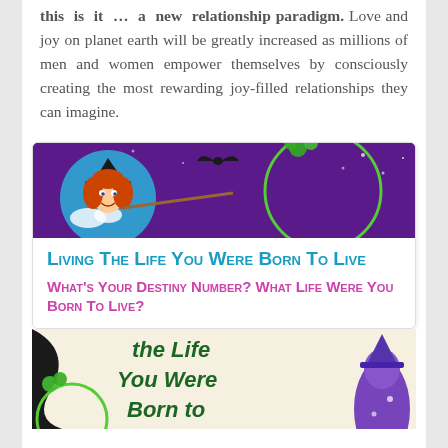this is it … a new relationship paradigm. Love and joy on planet earth will be greatly increased as millions of men and women empower themselves by consciously creating the most rewarding joy-filled relationships they can imagine.
[Figure (illustration): Banner image with purple background showing a cartoon witch girl with red hair and a green circle/planet with vines]
Living The Life You Were Born To Live
What's Your Destiny Number? What Life Were You Born To Live?
[Figure (illustration): Bottom portion of book cover showing 'the Life You Were Born to' text with illustrated witch hat and purple figure]